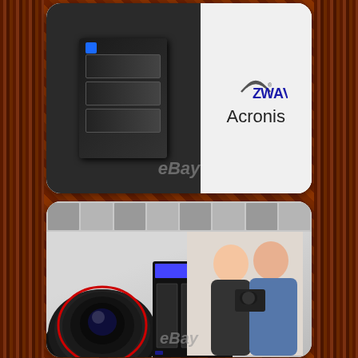[Figure (photo): Top card: WD NAS device on dark background on the left, Z-Wave and Acronis logos on the right, with eBay watermark]
[Figure (photo): Middle card: Camera lens in foreground left, WD NAS tower in center, two people examining a camera on the right, photo collage strip at top, eBay watermark at bottom]
[Figure (photo): Bottom card: WD My Cloud EX4100 NAS device with 5 drive bays and blue LCD screen showing 'Welcome to My Cloud', cyan speech bubble on the right reading 'Nouvelles applications!']